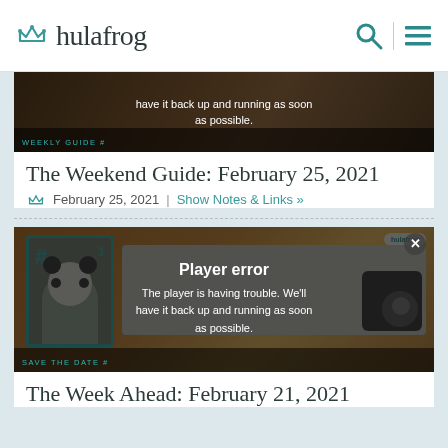hulafrog
[Figure (screenshot): Video thumbnail with player error overlay showing 'have it back up and running as soon as possible.' and a WEEKLY GUIDE label bar at bottom]
The Weekend Guide: February 25, 2021
February 25, 2021 | Show Notes & Links »
[Figure (screenshot): Video thumbnail showing colorful card image with panda and hashtag design, overlaid with Player error message: 'The player is having trouble. We'll have it back up and running as soon as possible.' SAVE THE DATE label bar at bottom]
The Week Ahead: February 21, 2021